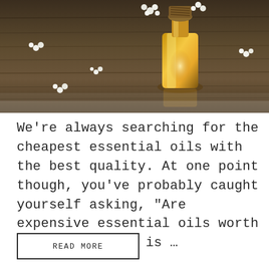[Figure (photo): A glass bottle of essential oil with a twine-wrapped cap, surrounded by small white flowers on a dark wooden surface. Warm amber/golden tones with dramatic lighting.]
We’re always searching for the cheapest essential oils with the best quality. At one point though, you’ve probably caught yourself asking, “Are expensive essential oils worth it?” The answer is …
READ MORE